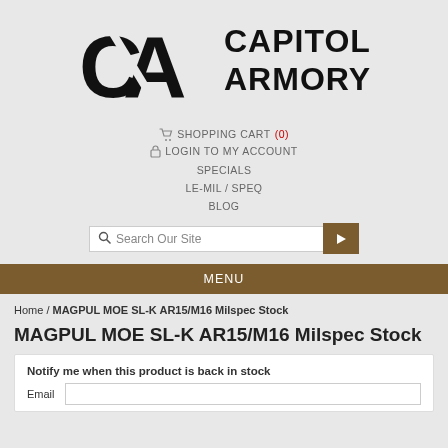[Figure (logo): Capitol Armory logo — stylized 'CA' letters with text 'CAPITOL ARMORY' in bold black on grey background]
SHOPPING CART (0)
LOGIN TO MY ACCOUNT
SPECIALS
LE-MIL / SPEQ
BLOG
Search Our Site
MENU
Home / MAGPUL MOE SL-K AR15/M16 Milspec Stock
MAGPUL MOE SL-K AR15/M16 Milspec Stock
Notify me when this product is back in stock
Email